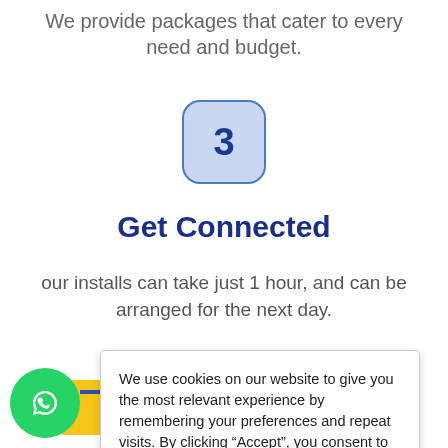We provide packages that cater to every need and budget.
[Figure (illustration): Step 3 icon: a rounded square badge with light blue background and blue border, containing the number 3 in dark blue bold font]
Get Connected
our installs can take just 1 hour, and can be arranged for the next day.
[Figure (illustration): Yellow rounded button partially visible at the bottom of the page]
We use cookies on our website to give you the most relevant experience by remembering your preferences and repeat visits. By clicking “Accept”, you consent to the use of ALL the cookies.
Need Help? Chat with us   gs
[Figure (illustration): Green WhatsApp circle icon at bottom left]
Con